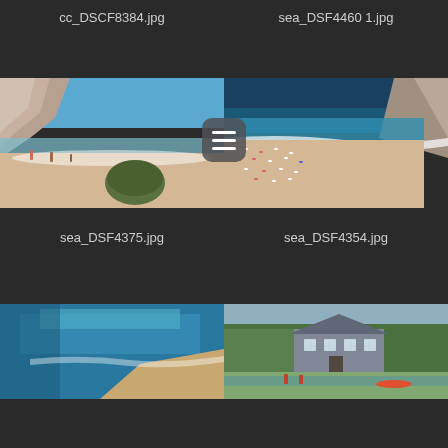cc_DSCF8384.jpg
sea_DSF4460 1.jpg
[Figure (photo): Beach scene with rocky cliffs and people on sand with water]
[Figure (photo): Aerial view of crowded beach with umbrellas and turquoise water next to rocky cliffs]
sea_DSF4375.jpg
sea_DSF4354.jpg
[Figure (photo): Coastal aerial view with blue water and beach]
[Figure (photo): House surrounded by green trees near water with people in foreground]